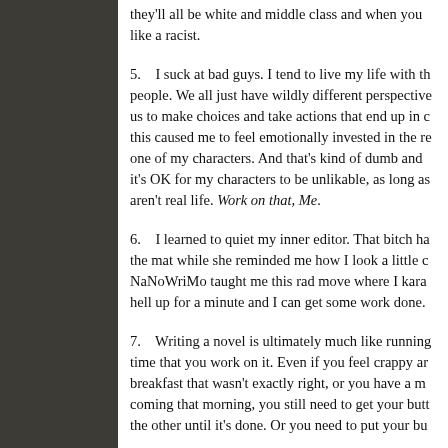they'll all be white and middle class and when you look like a racist.
5.    I suck at bad guys. I tend to live my life with th people. We all just have wildly different perspective us to make choices and take actions that end up in c this caused me to feel emotionally invested in the re one of my characters. And that's kind of dumb and it's OK for my characters to be unlikable, as long as aren't real life. Work on that, Me.
6.    I learned to quiet my inner editor. That bitch ha the mat while she reminded me how I look a little c NaNoWriMo taught me this rad move where I kara hell up for a minute and I can get some work done.
7.    Writing a novel is ultimately much like running time that you work on it. Even if you feel crappy ar breakfast that wasn't exactly right, or you have a m coming that morning, you still need to get your butt the other until it's done. Or you need to put your bu